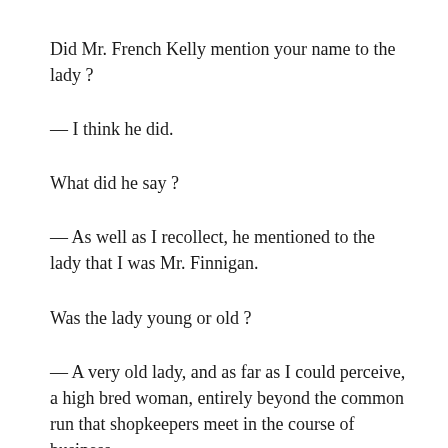Did Mr. French Kelly mention your name to the lady ?
— I think he did.
What did he say ?
— As well as I recollect, he mentioned to the lady that I was Mr. Finnigan.
Was the lady young or old ?
— A very old lady, and as far as I could perceive, a high bred woman, entirely beyond the common run that shopkeepers meet in the course of business.
What do you think it is ?